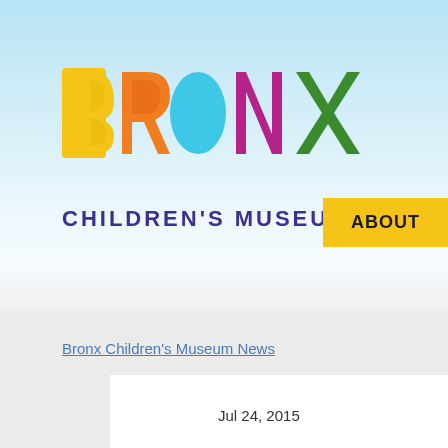[Figure (logo): Bronx Children's Museum colorful logo with letters B-R-O-N-X in yellow, orange, cyan, magenta/purple, green colors, and 'CHILDREN'S MUSEUM' in dark purple below]
ABOUT
Bronx Children's Museum News
Jul 24, 2015